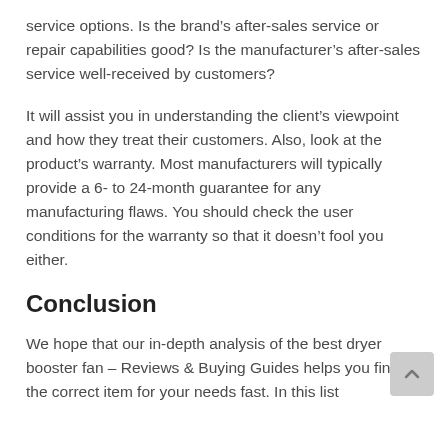service options. Is the brand’s after-sales service or repair capabilities good? Is the manufacturer’s after-sales service well-received by customers?
It will assist you in understanding the client’s viewpoint and how they treat their customers. Also, look at the product’s warranty. Most manufacturers will typically provide a 6- to 24-month guarantee for any manufacturing flaws. You should check the user conditions for the warranty so that it doesn’t fool you either.
Conclusion
We hope that our in-depth analysis of the best dryer booster fan – Reviews & Buying Guides helps you find the correct item for your needs fast. In this list